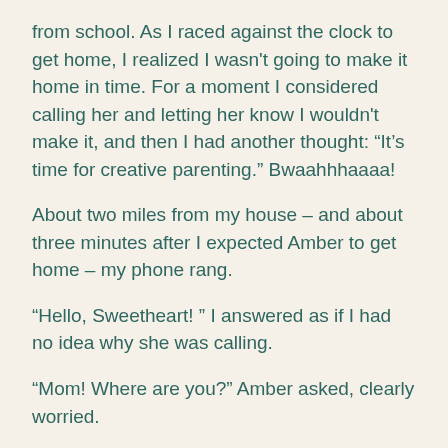from school. As I raced against the clock to get home, I realized I wasn't going to make it home in time. For a moment I considered calling her and letting her know I wouldn't make it, and then I had another thought: “It’s time for creative parenting.” Bwaahhhaaaa!
About two miles from my house – and about three minutes after I expected Amber to get home – my phone rang.
“Hello, Sweetheart! ” I answered as if I had no idea why she was calling.
“Mom! Where are you?” Amber asked, clearly worried.
“I’m on my way.”